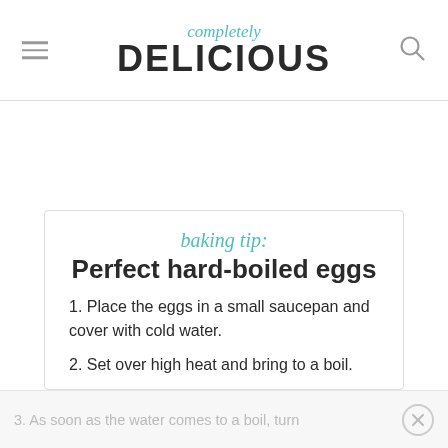completely DELICIOUS
baking tip:
Perfect hard-boiled eggs
1. Place the eggs in a small saucepan and cover with cold water.
2. Set over high heat and bring to a boil.
3. As soon as the water comes to a boil, turn